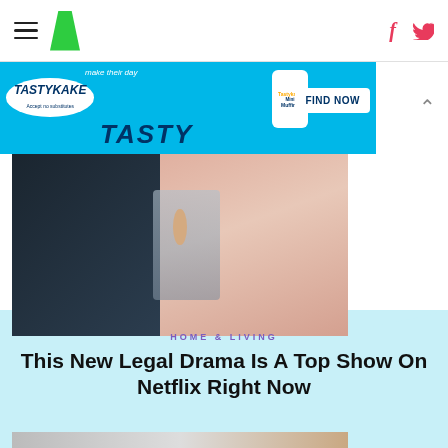HuffPost navigation with hamburger menu, logo, Facebook and Twitter icons
[Figure (photo): Tastykake advertisement banner - blue background with Tastykake logo, mini muffins product, TASTY text, and FIND NOW button]
[Figure (photo): Partially visible hero image showing two people - man in dark suit on left, woman in pink blazer on right with arms crossed]
HOME & LIVING
This New Legal Drama Is A Top Show On Netflix Right Now
[Figure (photo): Bottom of page - partially visible second image showing hands, appears to be legal/contract related scene]